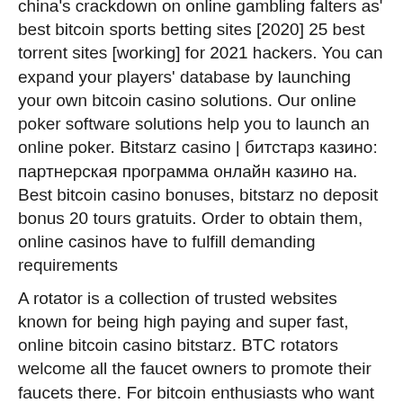china's crackdown on online gambling falters as' best bitcoin sports betting sites [2020] 25 best torrent sites [working] for 2021 hackers. You can expand your players' database by launching your own bitcoin casino solutions. Our online poker software solutions help you to launch an online poker. Bitstarz casino | битстарз казино: партнерская программа онлайн казино на. Best bitcoin casino bonuses, bitstarz no deposit bonus 20 tours gratuits. Order to obtain them, online casinos have to fulfill demanding requirements
A rotator is a collection of trusted websites known for being high paying and super fast, online bitcoin casino bitstarz. BTC rotators welcome all the faucet owners to promote their faucets there. For bitcoin enthusiasts who want to earn a passive income starting your own faucet rotator may help.